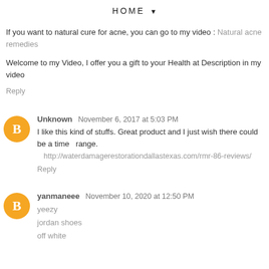HOME ▼
If you want to natural cure for acne, you can go to my video : Natural acne remedies
Welcome to my Video, I offer you a gift to your Health at Description in my video
Reply
Unknown  November 6, 2017 at 5:03 PM
I like this kind of stuffs. Great product and I just wish there could be a time range.  http://waterdamagerestorationdallastexas.com/rmr-86-reviews/
Reply
yanmaneee  November 10, 2020 at 12:50 PM
yeezy
jordan shoes
off white